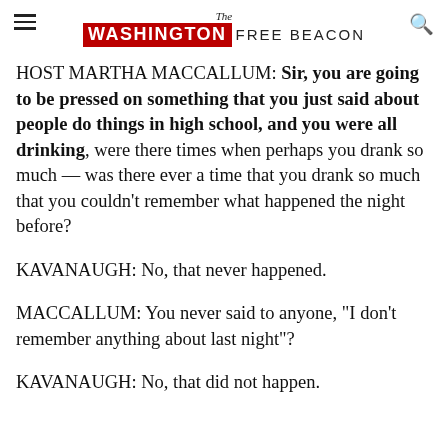The Washington Free Beacon
HOST MARTHA MACCALLUM: Sir, you are going to be pressed on something that you just said about people do things in high school, and you were all drinking, were there times when perhaps you drank so much — was there ever a time that you drank so much that you couldn't remember what happened the night before?
KAVANAUGH: No, that never happened.
MACCALLUM: You never said to anyone, "I don't remember anything about last night"?
KAVANAUGH: No, that did not happen.